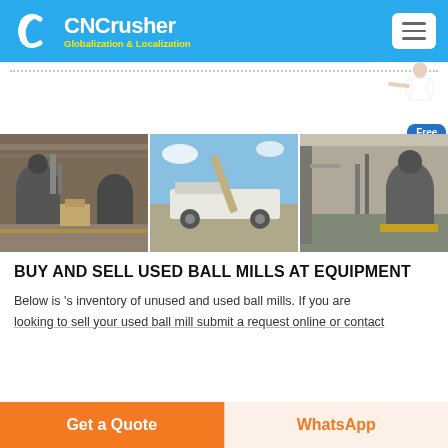CNCrusher — Globalization & Localization
[Figure (photo): Three-panel industrial photo strip showing ball mills and crushing equipment in factory settings and outdoor yard]
BUY AND SELL USED BALL MILLS AT EQUIPMENT
Below is 's inventory of unused and used ball mills. If you are looking to sell your used ball mill submit a request online or contact
Get a Quote
WhatsApp